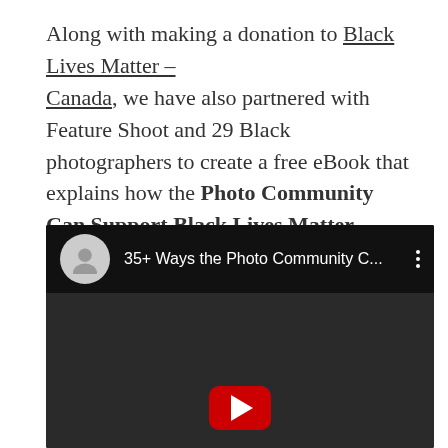Along with making a donation to Black Lives Matter – Canada, we have also partnered with Feature Shoot and 29 Black photographers to create a free eBook that explains how the Photo Community Can Support Black Lives Matter.
[Figure (screenshot): A YouTube video player screenshot showing a dark interface with a grey avatar icon on the left, the title '35+ Ways the Photo Community C...' and a three-dot menu icon on the right, with a dark video area and a red YouTube play button at the bottom center.]